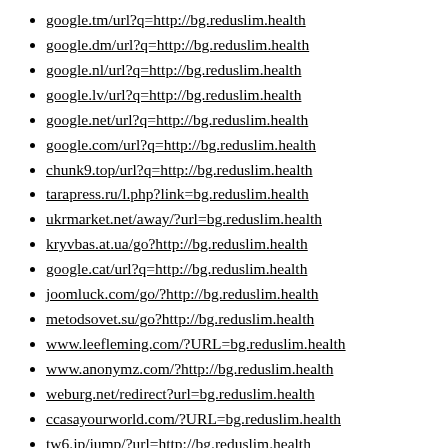google.tm/url?q=http://bg.reduslim.health
google.dm/url?q=http://bg.reduslim.health
google.nl/url?q=http://bg.reduslim.health
google.lv/url?q=http://bg.reduslim.health
google.net/url?q=http://bg.reduslim.health
google.com/url?q=http://bg.reduslim.health
chunk9.top/url?q=http://bg.reduslim.health
tarapress.ru/l.php?link=bg.reduslim.health
ukrmarket.net/away/?url=bg.reduslim.health
kryvbas.at.ua/go?http://bg.reduslim.health
google.cat/url?q=http://bg.reduslim.health
joomluck.com/go/?http://bg.reduslim.health
metodsovet.su/go?http://bg.reduslim.health
www.leefleming.com/?URL=bg.reduslim.health
www.anonymz.com/?http://bg.reduslim.health
weburg.net/redirect?url=bg.reduslim.health
ccasayourworld.com/?URL=bg.reduslim.health
tw6.jp/jump/?url=http://bg.reduslim.health
www.spainexpat.com/?URL=bg.reduslim.health